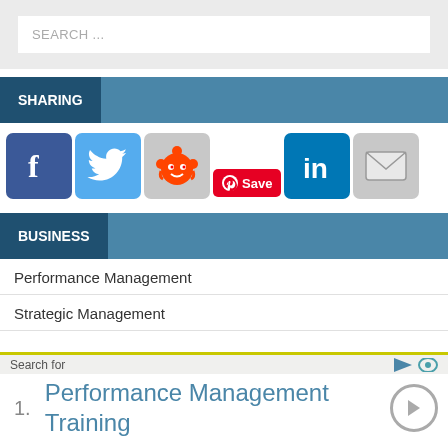SEARCH ...
SHARING
[Figure (infographic): Social sharing icons: Facebook (blue), Twitter (light blue), Reddit (gray with alien mascot), Pinterest Save (red button), LinkedIn (dark blue), Email (gray envelope)]
BUSINESS
Performance Management
Strategic Management
Search for
1. Performance Management Training